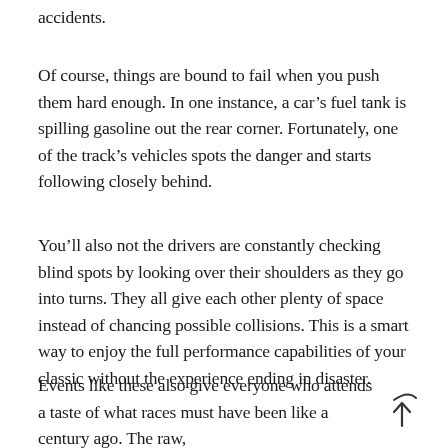accidents.
Of course, things are bound to fail when you push them hard enough. In one instance, a car’s fuel tank is spilling gasoline out the rear corner. Fortunately, one of the track’s vehicles spots the danger and starts following closely behind.
You’ll also not the drivers are constantly checking blind spots by looking over their shoulders as they go into turns. They all give each other plenty of space instead of chancing possible collisions. This is a smart way to enjoy the full performance capabilities of your classic without the experience ending in disaster.
Events like these also give everyone who attends a taste of what races must have been like a century ago. The raw,